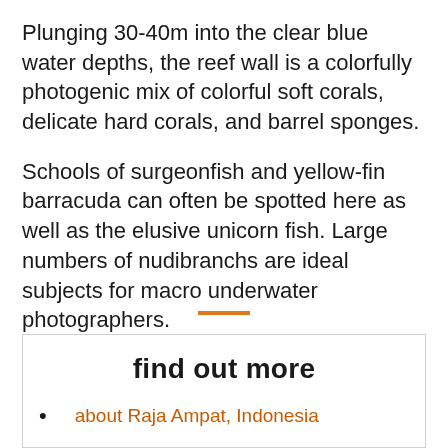Plunging 30-40m into the clear blue water depths, the reef wall is a colorfully photogenic mix of colorful soft corals, delicate hard corals, and barrel sponges.
Schools of surgeonfish and yellow-fin barracuda can often be spotted here as well as the elusive unicorn fish. Large numbers of nudibranchs are ideal subjects for macro underwater photographers.
find out more
about Raja Ampat, Indonesia